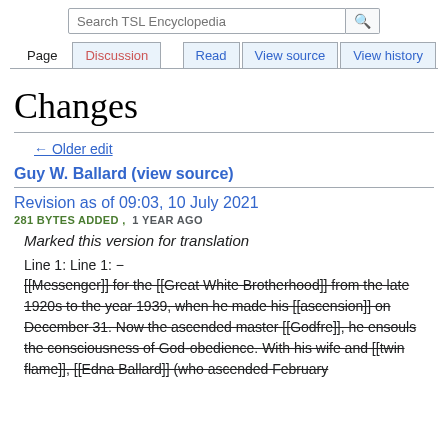Search TSL Encyclopedia | Page | Discussion | Read | View source | View history
Changes
← Older edit
Guy W. Ballard (view source)
Revision as of 09:03, 10 July 2021
281 BYTES ADDED ,  1 YEAR AGO
Marked this version for translation
Line 1: Line 1: −
[[Messenger]] for the [[Great White Brotherhood]] from the late 1920s to the year 1939, when he made his [[ascension]] on December 31. Now the ascended master [[Godfre]], he ensouls the consciousness of God-obedience. With his wife and [[twin flame]], [[Edna Ballard]] (who ascended February